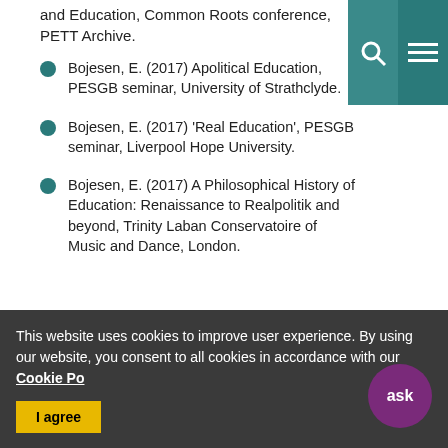and Education, Common Roots conference, PETT Archive.
Bojesen, E. (2017) Apolitical Education, PESGB seminar, University of Strathclyde.
Bojesen, E. (2017) 'Real Education', PESGB seminar, Liverpool Hope University.
Bojesen, E. (2017) A Philosophical History of Education: Renaissance to Realpolitik and beyond, Trinity Laban Conservatoire of Music and Dance, London.
This website uses cookies to improve user experience. By using our website, you consent to all cookies in accordance with our Cookie Po...
I agree